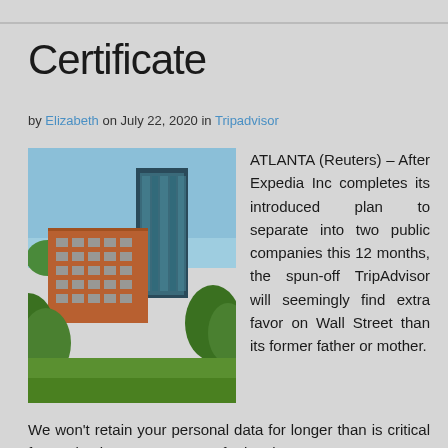Certificate
by Elizabeth on July 22, 2020 in Tripadvisor
[Figure (photo): Photograph of a modern multi-story office building complex with glass and brick exterior, surrounded by trees and green lawn, blue sky in background]
ATLANTA (Reuters) – After Expedia Inc completes its introduced plan to separate into two public companies this 12 months, the spun-off TripAdvisor will seemingly find extra favor on Wall Street than its former father or mother.
We won't retain your personal data for longer than is critical for our business purposes or for legal